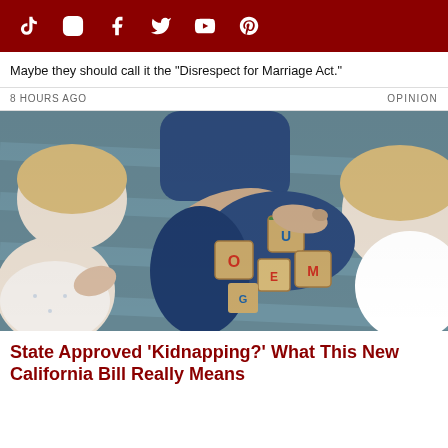Social media icons: TikTok, Instagram, Facebook, Twitter, YouTube, Pinterest
Maybe they should call it the "Disrespect for Marriage Act."
8 HOURS AGO    OPINION
[Figure (photo): Overhead view of a mother and two young toddlers with blonde hair playing with wooden alphabet blocks on a blue/grey patterned rug.]
State Approved 'Kidnapping?' What This New California Bill Really Means